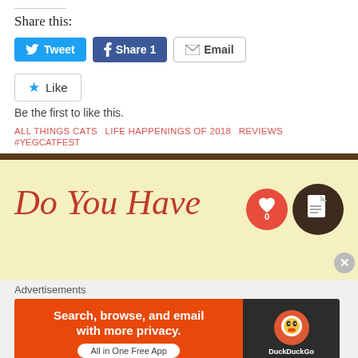Share this:
[Figure (screenshot): Social sharing buttons: Tweet (blue), Share 1 (Facebook blue), Email (outlined)]
[Figure (screenshot): Like button with star icon, text: Be the first to like this.]
Be the first to like this.
ALL THINGS CATS   LIFE HAPPENINGS OF 2018   REVIEWS
#YEGCATFEST
[Figure (screenshot): Yellow and brown stripe separator bar]
Do You Have
Advertisements
[Figure (screenshot): DuckDuckGo advertisement banner: Search, browse, and email with more privacy. All in One Free App.]